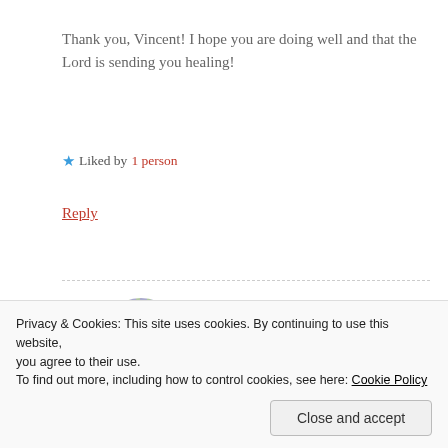Thank you, Vincent! I hope you are doing well and that the Lord is sending you healing!
★ Liked by 1 person
Reply
[Figure (photo): Circular avatar photo of Vincent S Artale Jr, a man wearing a cap outdoors with trees and water in background]
Vincent S Artale Jr
OCTOBER 5, 2016 AT 07:30
Privacy & Cookies: This site uses cookies. By continuing to use this website, you agree to their use.
To find out more, including how to control cookies, see here: Cookie Policy
Close and accept